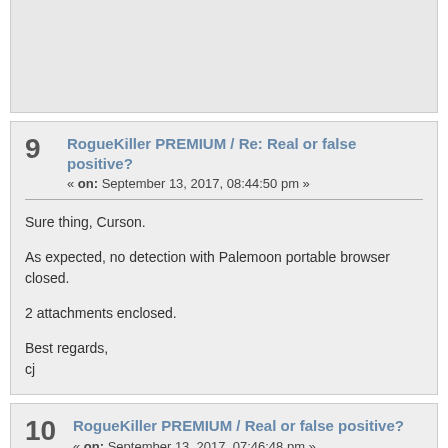9 RogueKiller PREMIUM / Re: Real or false positive?
« on: September 13, 2017, 08:44:50 pm »
Sure thing, Curson.

As expected, no detection with Palemoon portable browser closed.

2 attachments enclosed.

Best regards,
cj
10 RogueKiller PREMIUM / Real or false positive?
« on: September 13, 2017, 07:46:48 pm »
Hi guys,